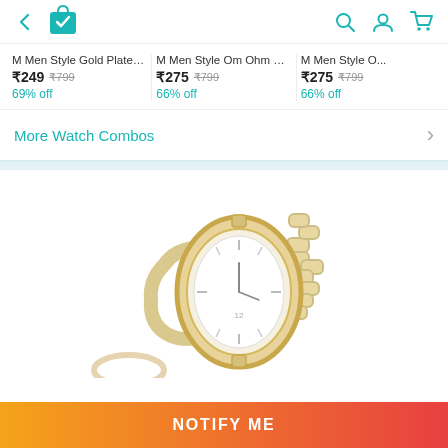[Figure (screenshot): Top navigation bar with back arrow, shopping bag icon with checkmark, search icon, user icon, and cart icon in teal color]
M Men Style Gold Plated 5...
₹249  ₹799
69% off
M Men Style Om Ohm Sy...
₹275  ₹799
66% off
M Men Style O...
₹275  ₹799
66% off
More Watch Combos
[Figure (photo): Gold chain bracelet watch with oval white dial, displayed on white background. Partially visible ring accessory at bottom left.]
NOTIFY ME